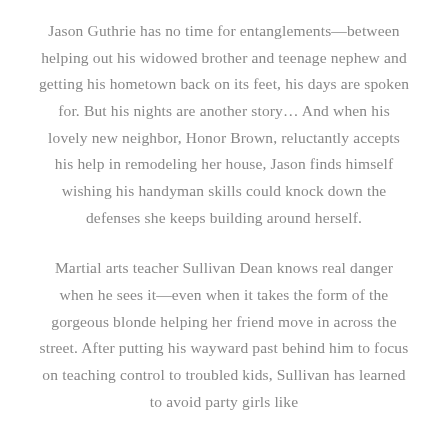Jason Guthrie has no time for entanglements—between helping out his widowed brother and teenage nephew and getting his hometown back on its feet, his days are spoken for. But his nights are another story… And when his lovely new neighbor, Honor Brown, reluctantly accepts his help in remodeling her house, Jason finds himself wishing his handyman skills could knock down the defenses she keeps building around herself.
Martial arts teacher Sullivan Dean knows real danger when he sees it—even when it takes the form of the gorgeous blonde helping her friend move in across the street. After putting his wayward past behind him to focus on teaching control to troubled kids, Sullivan has learned to avoid party girls like